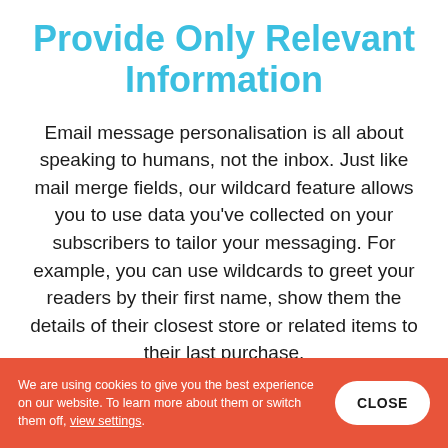Provide Only Relevant Information
Email message personalisation is all about speaking to humans, not the inbox. Just like mail merge fields, our wildcard feature allows you to use data you've collected on your subscribers to tailor your messaging. For example, you can use wildcards to greet your readers by their first name, show them the details of their closest store or related items to their last purchase.
We are using cookies to give you the best experience on our website. To learn more about them or switch them off, view settings.  CLOSE